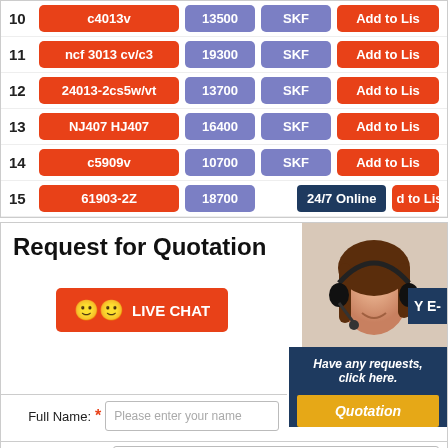| # | Part Number | Speed | Brand | Action |
| --- | --- | --- | --- | --- |
| 10 | c4013v | 13500 | SKF | Add to Lis... |
| 11 | ncf 3013 cv/c3 | 19300 | SKF | Add to Lis... |
| 12 | 24013-2cs5w/vt | 13700 | SKF | Add to Lis... |
| 13 | NJ407 HJ407 | 16400 | SKF | Add to Lis... |
| 14 | c5909v | 10700 | SKF | Add to Lis... |
| 15 | 61903-2Z | 18700 | SKF | d to Lis... |
Request for Quotation
[Figure (photo): Customer support woman wearing headset, smiling]
24/7 Online
LIVE CHAT
Have any requests, click here.
Quotation
Full Name: * Please enter your name
Phone Please enter the phone number